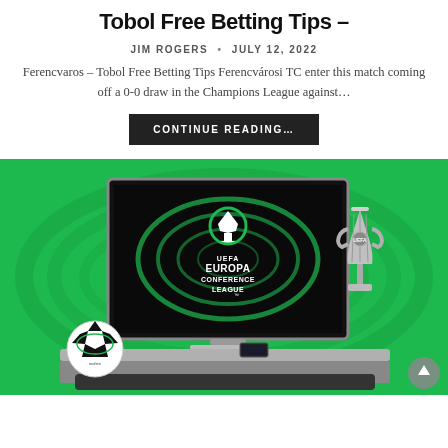Tobol Free Betting Tips –
JIM ROGERS · JULY 12, 2022
Ferencvaros – Tobol Free Betting Tips Ferencvárosi TC enter this match coming off a 0-0 draw in the Champions League against…
CONTINUE READING…
[Figure (photo): UEFA Europa Conference League promotional image showing a TV screen displaying the UEFA Europa Conference League logo with green swirl design, an official match ball (molten brand), a smartphone, and the Conference League trophy on a grey shelf, all against a bright green background.]